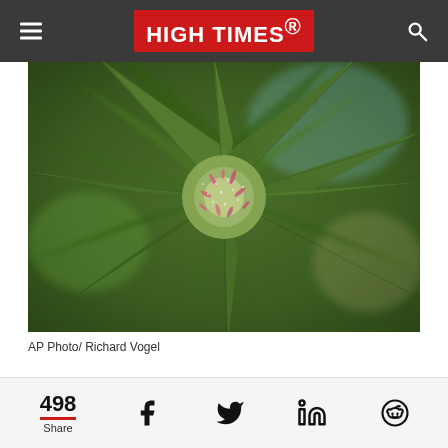HIGH TIMES
[Figure (photo): Close-up photograph of a cannabis bud with green leaves, pistils and trichomes, blurred background]
AP Photo/ Richard Vogel
DENVER (AP) — Some text continues...
498 Share
[Figure (other): Social share bar with share count 498 and icons for Facebook, Twitter, LinkedIn, Reddit]